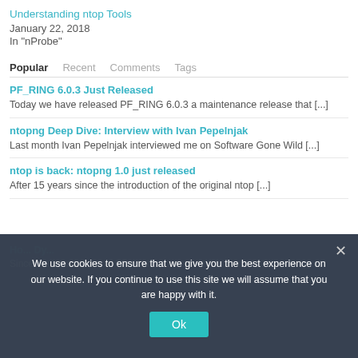Understanding ntop Tools
January 22, 2018
In "nProbe"
Popular  Recent  Comments  Tags
PF_RING 6.0.3 Just Released
Today we have released PF_RING 6.0.3  a maintenance release that [...]
ntopng Deep Dive: Interview with Ivan Pepelnjak
Last month Ivan Pepelnjak interviewed me on Software Gone Wild [...]
ntop is back: ntopng 1.0 just released
After 15 years since the introduction of the original ntop [...]
We use cookies to ensure that we give you the best experience on our website. If you continue to use this site we will assume that you are happy with it.